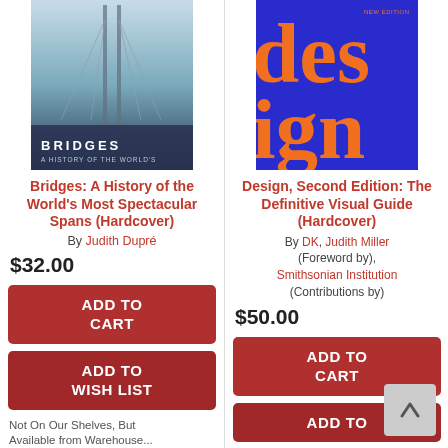[Figure (illustration): Book cover: Bridges: A History of the World's Most Spectacular Spans. Shows tall bridge cables against blue-gray sky.]
Bridges: A History of the World's Most Spectacular Spans (Hardcover)
By Judith Dupré
$32.00
ADD TO CART
ADD TO WISH LIST
Not On Our Shelves, But Available from Warehouse...
[Figure (illustration): Book cover: Design, Second Edition: The Definitive Visual Guide. Blue background with large orange bold 'design' text.]
Design, Second Edition: The Definitive Visual Guide (Hardcover)
By DK, Judith Miller (Foreword by), Smithsonian Institution (Contributions by)
$50.00
ADD TO CART
ADD TO